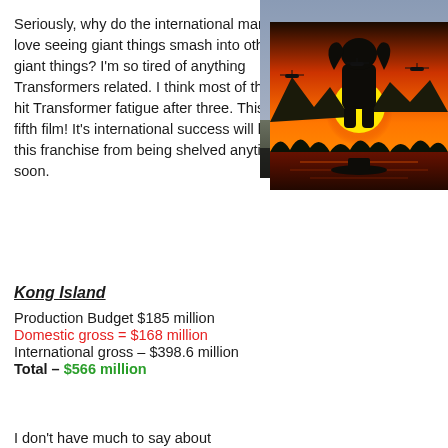Seriously, why do the international markets love seeing giant things smash into other giant things? I'm so tired of anything Transformers related. I think most of the U.S. hit Transformer fatigue after three. This is the fifth film! It's international success will keep this franchise from being shelved anytime soon.
[Figure (photo): Transformers: The Last Knight movie poster showing yellow Bumblebee robot in battle stance]
Kong Island
Production Budget $185 million
Domestic gross = $168 million
International gross – $398.6 million
Total – $566 million
[Figure (photo): Kong: Skull Island movie poster showing giant silhouette of Kong against a red sunset with helicopters]
I don't have much to say about